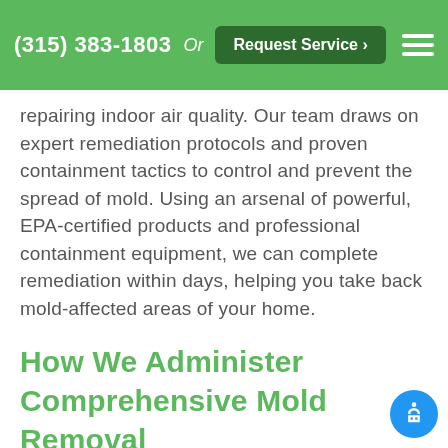(315) 383-1803  Or  Request Service >
repairing indoor air quality. Our team draws on expert remediation protocols and proven containment tactics to control and prevent the spread of mold. Using an arsenal of powerful, EPA-certified products and professional containment equipment, we can complete remediation within days, helping you take back mold-affected areas of your home.
How We Administer Comprehensive Mold Removal